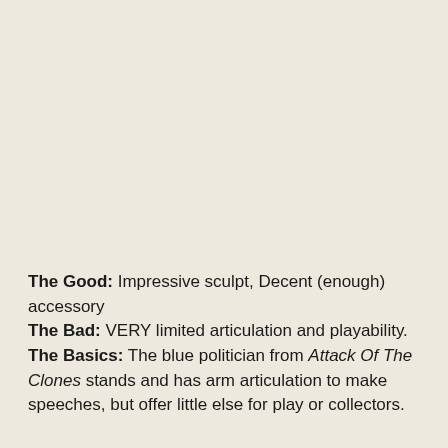The Good: Impressive sculpt, Decent (enough) accessory
The Bad: VERY limited articulation and playability.
The Basics: The blue politician from Attack Of The Clones stands and has arm articulation to make speeches, but offer little else for play or collectors.
Since the Star Wars prequel trilogy movies hit theaters, I have often thought George Lucas missed out on a great...